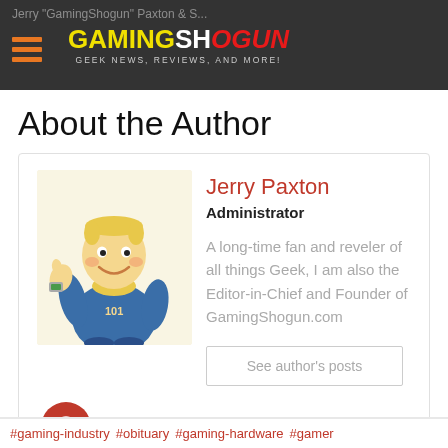GamingShogun - GEEK NEWS, REVIEWS, AND MORE!
About the Author
Jerry Paxton
Administrator
A long-time fan and reveler of all things Geek, I am also the Editor-in-Chief and Founder of GamingShogun.com
See author's posts
[Figure (illustration): Vault Boy cartoon character giving thumbs up, from Fallout game series]
#gaming-industry #obituary #gaming-hardware #gamer